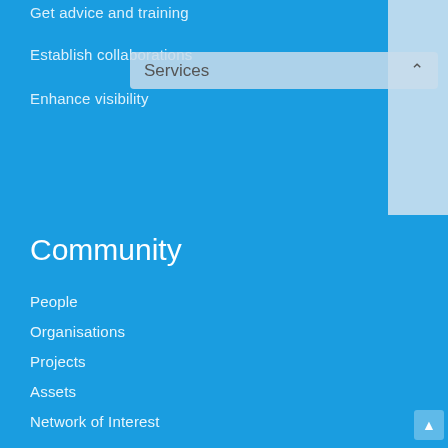Get advice and training
Establish collaborations
Enhance visibility
Community
People
Organisations
Projects
Assets
Network of Interest
Haivisio
Summary
Objectives
Partners
News
HAIVISIO 1st Training Course, May 2014